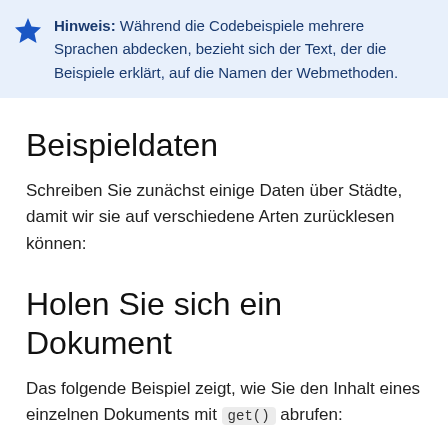Hinweis: Während die Codebeispiele mehrere Sprachen abdecken, bezieht sich der Text, der die Beispiele erklärt, auf die Namen der Webmethoden.
Beispieldaten
Schreiben Sie zunächst einige Daten über Städte, damit wir sie auf verschiedene Arten zurücklesen können:
Holen Sie sich ein Dokument
Das folgende Beispiel zeigt, wie Sie den Inhalt eines einzelnen Dokuments mit get() abrufen: